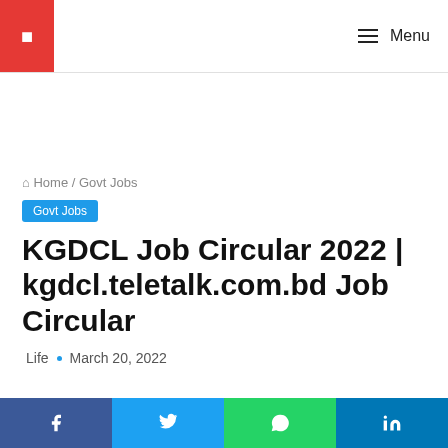Menu
Home / Govt Jobs
Govt Jobs
KGDCL Job Circular 2022 | kgdcl.teletalk.com.bd Job Circular
Life • March 20, 2022